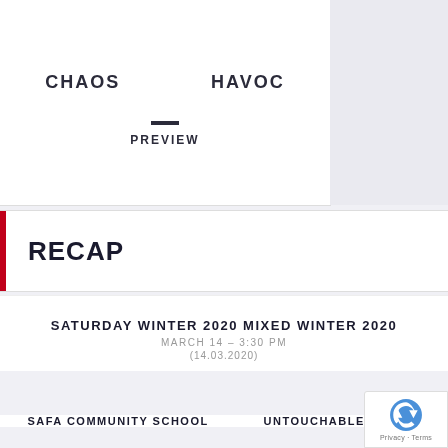CHAOS  HAVOC
— PREVIEW
RECAP
SATURDAY WINTER 2020 MIXED WINTER 2020
MARCH 14 – 3:30 PM
(14.03.2020)
SAFA COMMUNITY SCHOOL   UNTOUCHABLES MIXED